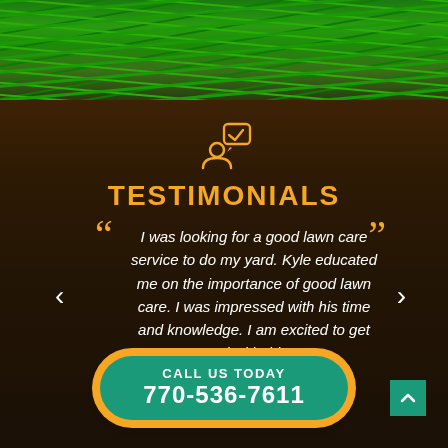[Figure (illustration): Background of dark soil/dirt with green grass at top, lawn care service testimonial page]
TESTIMONIALS
I was looking for a good lawn care service to do my yard. Kyle educated me on the importance of good lawn care. I was impressed with his time and knowledge. I am excited to get started with this ser...
Janet Montminy
View Review
CALL US TODAY
770-536-7611